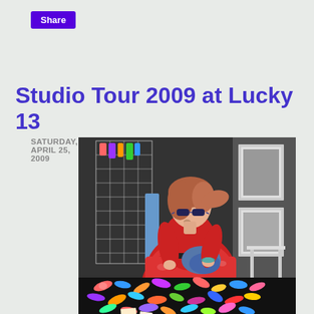Share
SATURDAY, APRIL 25, 2009
Studio Tour 2009 at Lucky 13
[Figure (photo): A woman with short reddish-brown hair and sunglasses, wearing a red top and patterned red skirt, sitting in an art studio booth. She is holding denim fabric. Around her are colorful painted letter/bone shapes scattered on a black surface, and a wire grid display panel with colorful hanging items on the left. Black and white framed artwork is visible in the background on the right.]